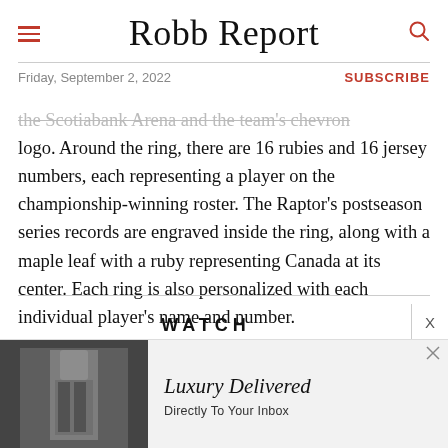Robb Report — Friday, September 2, 2022 — SUBSCRIBE
the Scotiabank Arena and the team's chevron logo. Around the ring, there are 16 rubies and 16 jersey numbers, each representing a player on the championship-winning roster. The Raptor's postseason series records are engraved inside the ring, along with a maple leaf with a ruby representing Canada at its center. Each ring is also personalized with each individual player's name and number.
WATCH
[Figure (photo): Advertisement banner: black and white photo of a man in a suit on a city street, beside promotional text reading 'Luxury Delivered Directly To Your Inbox']